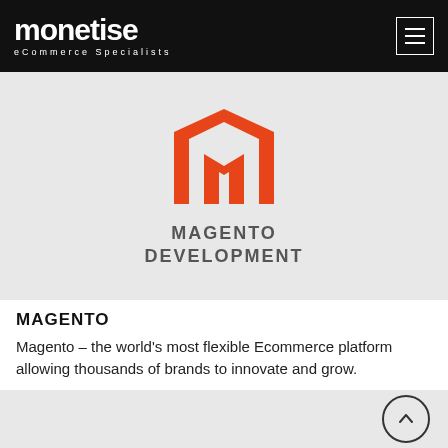monetise eCommerce Specialists
[Figure (logo): Magento Development logo with orange stylized M icon above text reading MAGENTO DEVELOPMENT on a light grey background]
MAGENTO
Magento – the world's most flexible Ecommerce platform allowing thousands of brands to innovate and grow.
[Figure (other): Grey section area with a circular up-arrow button on the right side]